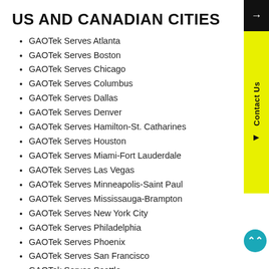US AND CANADIAN CITIES
GAOTek Serves Atlanta
GAOTek Serves Boston
GAOTek Serves Chicago
GAOTek Serves Columbus
GAOTek Serves Dallas
GAOTek Serves Denver
GAOTek Serves Hamilton-St. Catharines
GAOTek Serves Houston
GAOTek Serves Miami-Fort Lauderdale
GAOTek Serves Las Vegas
GAOTek Serves Minneapolis-Saint Paul
GAOTek Serves Mississauga-Brampton
GAOTek Serves New York City
GAOTek Serves Philadelphia
GAOTek Serves Phoenix
GAOTek Serves San Francisco
GAOTek Serves Seattle
GAOTek Serves St. Louis
GAOTek Serves Tampa-St. Petersburg
GAOTek Serves Toronto